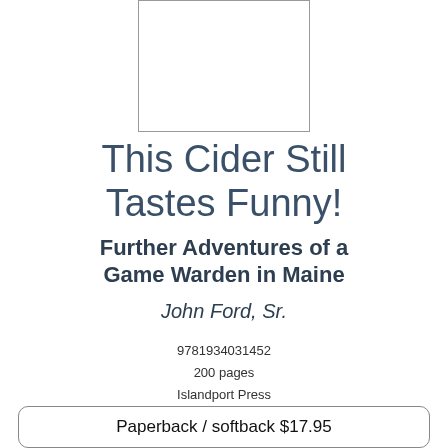[Figure (illustration): Blank rectangular book cover placeholder image with black border]
This Cider Still Tastes Funny!
Further Adventures of a Game Warden in Maine
John Ford, Sr.
9781934031452
200 pages
Islandport Press
Paperback / softback $17.95